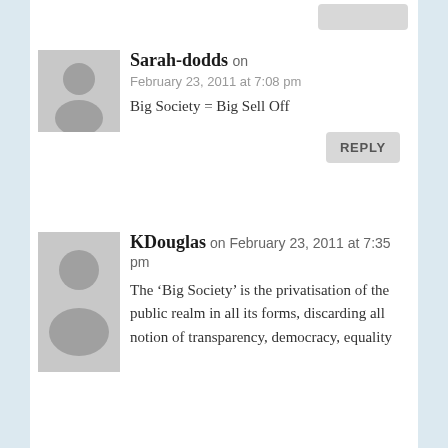[Figure (illustration): Generic user avatar silhouette (grey placeholder) for Sarah-dodds]
Sarah-dodds on February 23, 2011 at 7:08 pm Big Society = Big Sell Off REPLY
[Figure (illustration): Generic user avatar silhouette (grey placeholder) for KDouglas]
KDouglas on February 23, 2011 at 7:35 pm The ‘Big Society’ is the privatisation of the public realm in all its forms, discarding all notion of transparency, democracy, equality